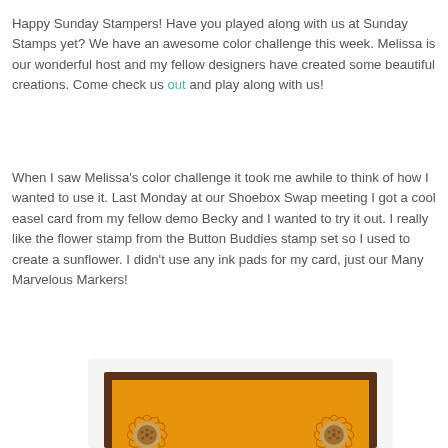Happy Sunday Stampers!  Have you played along with us at Sunday Stamps yet? We have an awesome color challenge this week.  Melissa is our wonderful host and my fellow designers have created some beautiful creations.  Come check us out and play along with us!
When I saw Melissa's color challenge it took me awhile to think of how I wanted to use it.  Last Monday at our Shoebox Swap meeting I got a cool easel card from my fellow demo Becky and I wanted to try it out. I really like the flower stamp from the Button Buddies stamp set so I used to create a sunflower. I didn't use any ink pads for my card, just our Many Marvelous Markers!
[Figure (photo): A handmade easel card with dark brown frame, orange background, and sunflower stamps on both left and right sides of the card.]